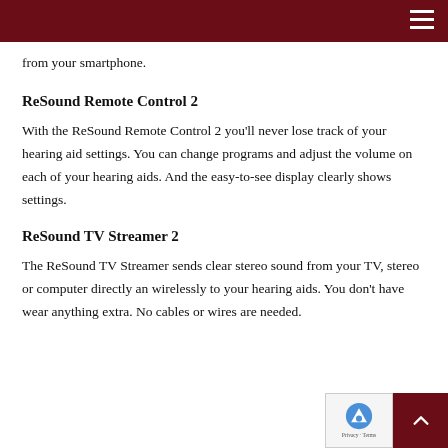from your smartphone.
ReSound Remote Control 2
With the ReSound Remote Control 2 you'll never lose track of your hearing aid settings. You can change programs and adjust the volume on each of your hearing aids. And the easy-to-see display clearly shows settings.
ReSound TV Streamer 2
The ReSound TV Streamer sends clear stereo sound from your TV, stereo or computer directly and wirelessly to your hearing aids. You don't have wear anything extra. No cables or wires are needed.